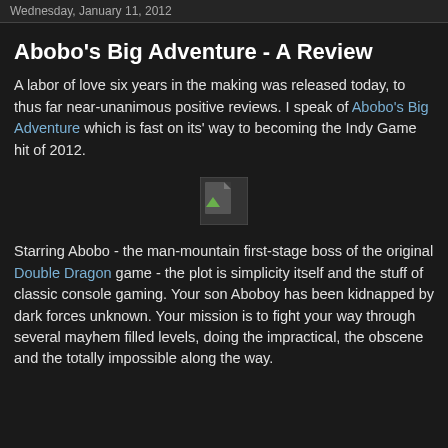Wednesday, January 11, 2012
Abobo's Big Adventure - A Review
A labor of love six years in the making was released today, to thus far near-unanimous positive reviews. I speak of Abobo's Big Adventure which is fast on its' way to becoming the Indy Game hit of 2012.
[Figure (photo): Broken image placeholder (image failed to load)]
Starring Abobo - the man-mountain first-stage boss of the original Double Dragon game - the plot is simplicity itself and the stuff of classic console gaming. Your son Aboboy has been kidnapped by dark forces unknown. Your mission is to fight your way through several mayhem filled levels, doing the impractical, the obscene and the totally impossible along the way.